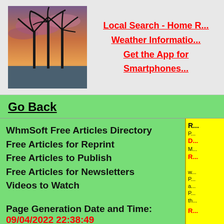[Figure (photo): Silhouette of palm trees against a sunset sky with purple and orange clouds]
Local Search - Home R...
Weather Informatio...
Get the App for Smartphones...
Go Back
WhmSoft Free Articles Directory
Free Articles for Reprint
Free Articles to Publish
Free Articles for Newsletters
Videos to Watch
Page Generation Date and Time:
09/04/2022 22:38:49